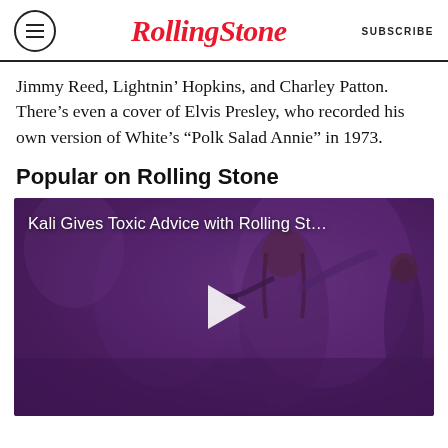RollingStone SUBSCRIBE
Jimmy Reed, Lightnin’ Hopkins, and Charley Patton. There’s even a cover of Elvis Presley, who recorded his own version of White’s “Polk Salad Annie” in 1973.
Popular on Rolling Stone
[Figure (screenshot): Video thumbnail showing a performer on stage with purple lighting, microphone in hand. Overlay text reads 'Kali Gives Toxic Advice with Rolling St…' with a play button in the center.]